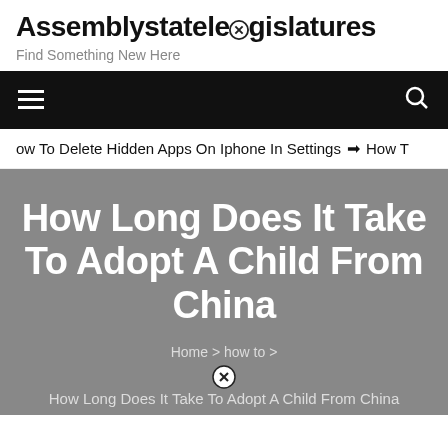Assemblystatelegislatures
Find Something New Here
[Figure (screenshot): Navigation bar with hamburger menu icon on left and search icon on right, black background]
ow To Delete Hidden Apps On Iphone In Settings  ➔  How T
How Long Does It Take To Adopt A Child From China
Home > how to >
How Long Does It Take To Adopt A Child From China